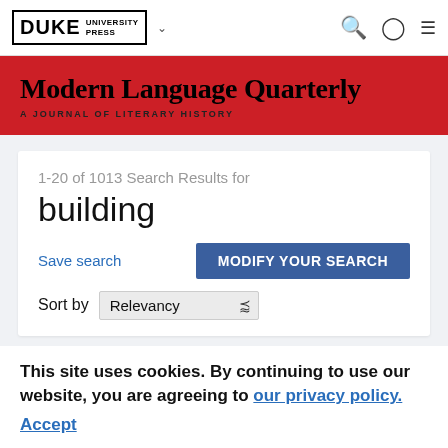DUKE UNIVERSITY PRESS
Modern Language Quarterly — A JOURNAL OF LITERARY HISTORY
1-20 of 1013 Search Results for building
Save search | MODIFY YOUR SEARCH | Sort by Relevancy
This site uses cookies. By continuing to use our website, you are agreeing to our privacy policy. Accept
JOURNAL ARTICLE